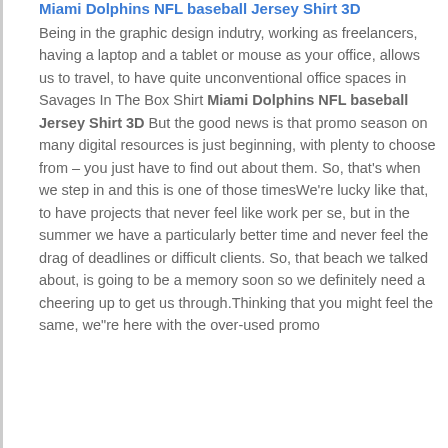Miami Dolphins NFL baseball Jersey Shirt 3D
Being in the graphic design indutry, working as freelancers, having a laptop and a tablet or mouse as your office, allows us to travel, to have quite unconventional office spaces in Savages In The Box Shirt Miami Dolphins NFL baseball Jersey Shirt 3D But the good news is that promo season on many digital resources is just beginning, with plenty to choose from – you just have to find out about them. So, that's when we step in and this is one of those timesWe're lucky like that, to have projects that never feel like work per se, but in the summer we have a particularly better time and never feel the drag of deadlines or difficult clients. So, that beach we talked about, is going to be a memory soon so we definitely need a cheering up to get us through.Thinking that you might feel the same, we"re here with the over-used promo